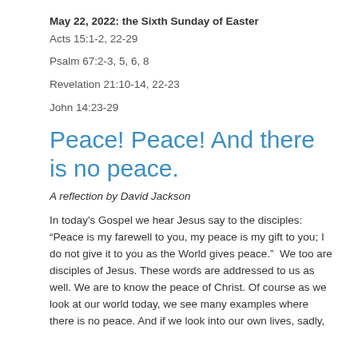May 22, 2022: the Sixth Sunday of Easter
Acts 15:1-2, 22-29
Psalm 67:2-3, 5, 6, 8
Revelation 21:10-14, 22-23
John 14:23-29
Peace! Peace! And there is no peace.
A reflection by David Jackson
In today's Gospel we hear Jesus say to the disciples: “Peace is my farewell to you, my peace is my gift to you; I do not give it to you as the World gives peace.”  We too are disciples of Jesus. These words are addressed to us as well. We are to know the peace of Christ. Of course as we look at our world today, we see many examples where there is no peace. And if we look into our own lives, sadly, we also find times where there is no peace.